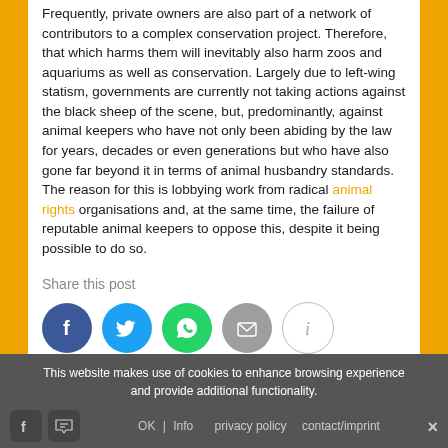Frequently, private owners are also part of a network of contributors to a complex conservation project. Therefore, that which harms them will inevitably also harm zoos and aquariums as well as conservation. Largely due to left-wing statism, governments are currently not taking actions against the black sheep of the scene, but, predominantly, against animal keepers who have not only been abiding by the law for years, decades or even generations but who have also gone far beyond it in terms of animal husbandry standards. The reason for this is lobbying work from radical animal rights organisations and, at the same time, the failure of reputable animal keepers to oppose this, despite it being possible to do so.
Share this post
[Figure (infographic): Social sharing icons: Facebook (blue circle), Twitter (light blue circle), WhatsApp (green circle), Email (grey circle), Info (white circle with border)]
This website makes use of cookies to enhance browsing experience and provide additional functionality. OK | Info | privacy policy | contact/imprint